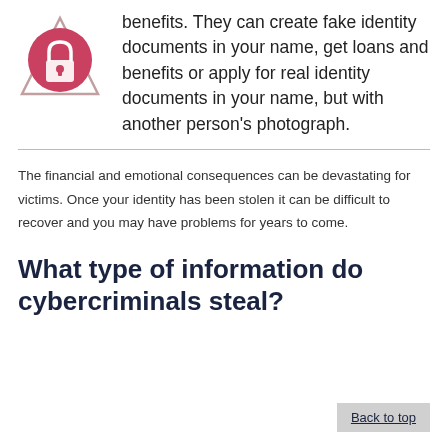[Figure (illustration): A pink/red circle with a padlock icon overlaid on a triangle outline, representing security or identity protection.]
benefits. They can create fake identity documents in your name, get loans and benefits or apply for real identity documents in your name, but with another person's photograph.
The financial and emotional consequences can be devastating for victims. Once your identity has been stolen it can be difficult to recover and you may have problems for years to come.
What type of information do cybercriminals steal?